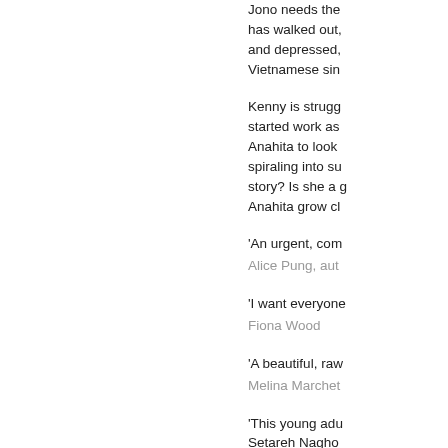Jono needs the… has walked out, and depressed, Vietnamese sin…
Kenny is strugg… started work as… Anahita to look… spiraling into su… story? Is she a g… Anahita grow cl…
'An urgent, com…
Alice Pung, aut…
'I want everyone…
Fiona Wood
'A beautiful, raw…
Melina Marchet…
'This young adu… Setareh Nagho… blossoms betwe… Australian. Livin… leaves the com… facility, mentions… the boys becom… view, and Nagh… Throughout mos… of detachment…